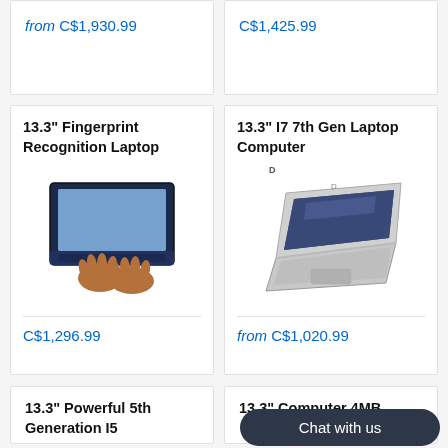from C$1,930.99
C$1,425.99
13.3" Fingerprint Recognition Laptop
[Figure (photo): Top-down view of a dark blue laptop with hands typing on keyboard]
C$1,296.99
13.3" I7 7th Gen Laptop Computer
[Figure (photo): Silver laptop shown at an angle with a gaming-style wallpaper on screen, with a small brand logo above]
from C$1,020.99
13.3" Powerful 5th Generation I5
13.3" Computer 4MB
Chat with us